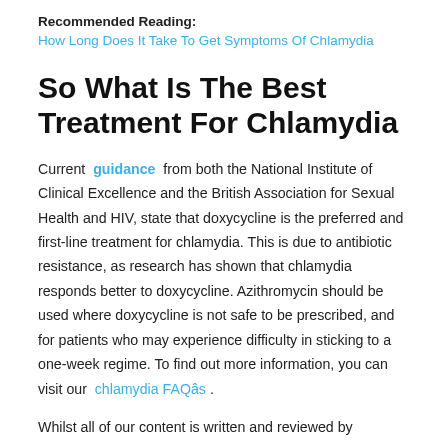Recommended Reading:
How Long Does It Take To Get Symptoms Of Chlamydia
So What Is The Best Treatment For Chlamydia
Current guidance from both the National Institute of Clinical Excellence and the British Association for Sexual Health and HIV, state that doxycycline is the preferred and first-line treatment for chlamydia. This is due to antibiotic resistance, as research has shown that chlamydia responds better to doxycycline. Azithromycin should be used where doxycycline is not safe to be prescribed, and for patients who may experience difficulty in sticking to a one-week regime. To find out more information, you can visit our chlamydia FAQâs .
Whilst all of our content is written and reviewed by